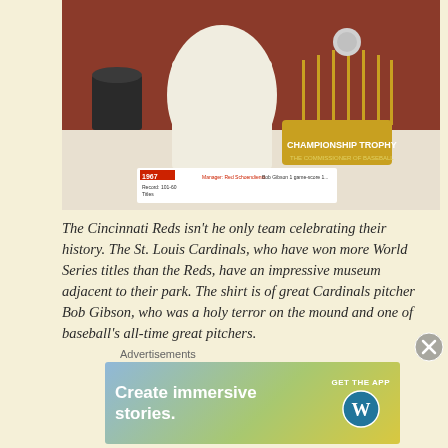[Figure (photo): Photo of a baseball Championship Trophy replica on a display table, with a 1967 info card visible in the foreground]
The Cincinnati Reds isn't he only team celebrating their history. The St. Louis Cardinals, who have won more World Series titles than the Reds, have an impressive museum adjacent to their park. The shirt is of great Cardinals pitcher Bob Gibson, who was a holy terror on the mound and one of baseball's all-time great pitchers.
[Figure (photo): Person wearing St. Louis Cardinals cap posing in front of a Stan Musial sign/display in a museum]
Advertisements
[Figure (screenshot): WordPress advertisement banner: 'Create immersive stories. GET THE APP' with WordPress logo]